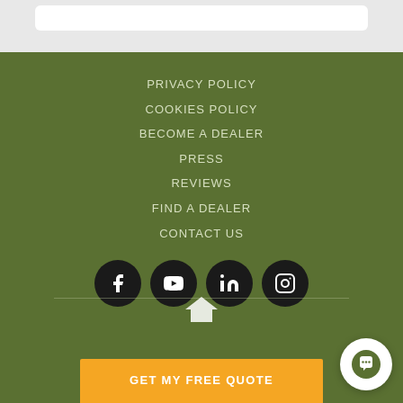PRIVACY POLICY
COOKIES POLICY
BECOME A DEALER
PRESS
REVIEWS
FIND A DEALER
CONTACT US
[Figure (infographic): Social media icons: Facebook, YouTube, LinkedIn, Instagram]
GET MY FREE QUOTE